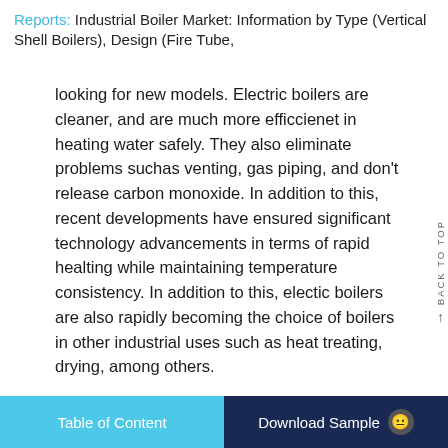Reports: Industrial Boiler Market: Information by Type (Vertical Shell Boilers), Design (Fire Tube,
looking for new models. Electric boilers are cleaner, and are much more efficcienet in heating water safely. They also eliminate problems suchas venting, gas piping, and don't release carbon monoxide. In addition to this, recent developments have ensured significant technology advancements in terms of rapid healting while maintaining temperature consistency. In addition to this, electic boilers are also rapidly becoming the choice of boilers in other industrial uses such as heat treating, drying, among others.

Electric boilers offer efficient, clean and safe water heating. Electric boilers eliminate the
Table of Content    Download Sample